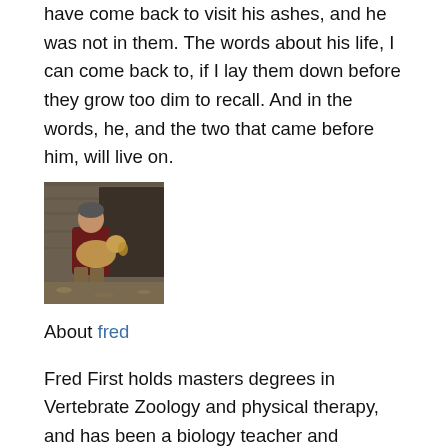have come back to visit his ashes, and he was not in them. The words about his life, I can come back to, if I lay them down before they grow too dim to recall. And in the words, he, and the two that came before him, will live on.
[Figure (photo): A person sitting outdoors holding a dog, wooden structure in background]
About fred
Fred First holds masters degrees in Vertebrate Zoology and physical therapy, and has been a biology teacher and physical therapist by profession. He moved to southwest Virginia in 1975 and to Floyd County in 1997. He maintains a daily photo-blog, broadcasts essays on the